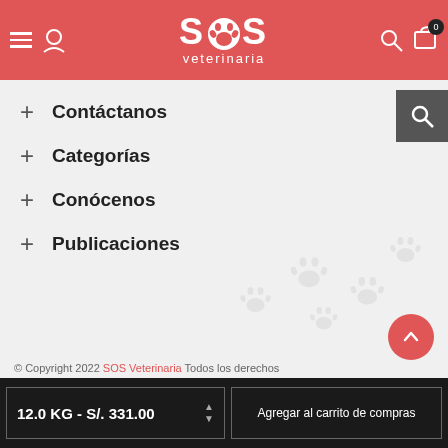[Figure (logo): SOS Veterinaria logo with paw print in header, red background]
+ Contáctanos
+ Categorías
+ Conócenos
+ Publicaciones
© Copyright 2022 SOS Veterinaria Todos los derechos
12.0 KG - S/. 331.00
Agregar al carrito de compras